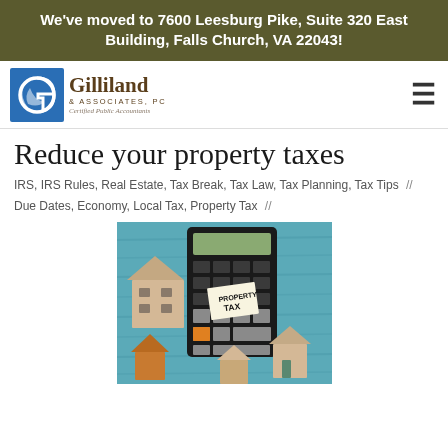We've moved to 7600 Leesburg Pike, Suite 320 East Building, Falls Church, VA 22043!
[Figure (logo): Gilliland & Associates, PC Certified Public Accountants logo with stylized G icon in blue square]
Reduce your property taxes
IRS, IRS Rules, Real Estate, Tax Break, Tax Law, Tax Planning, Tax Tips // Due Dates, Economy, Local Tax, Property Tax //
[Figure (photo): Photo of a calculator with a 'PROPERTY TAX' note on it, surrounded by wooden house figurines on a blue wooden surface]